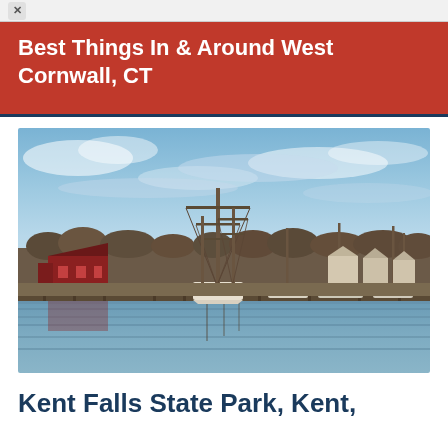×
Best Things In & Around West Cornwall, CT
[Figure (photo): Harbor scene with tall sailing ships docked at a marina, red buildings on the left, houses on the right, calm reflective water, blue sky with clouds, autumn/winter trees in the background.]
Kent Falls State Park, Kent,